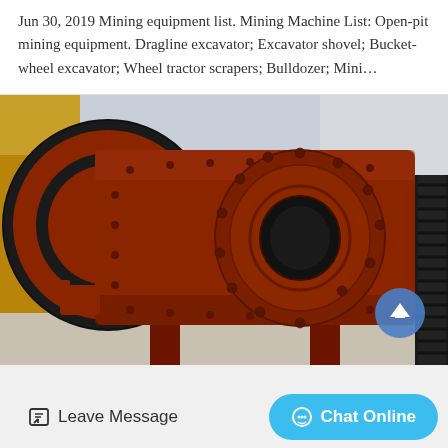Jun 30, 2019 Mining equipment list. Mining Machine List: Open-pit mining equipment. Dragline excavator; Excavator shovel; Bucket-wheel excavator; Wheel tractor scrapers; Bulldozer; Mini…
[Figure (photo): Close-up photograph of a large orange industrial ball mill or grinding machine with a large gear ring/drive wheel. The equipment is orange/red-brown with bolted construction, showing the cylindrical drum and circular end plate with a central opening. Yellow heavy equipment visible in the background.]
Leave Message
Chat Online